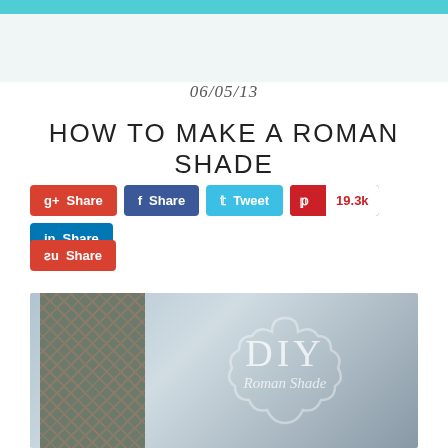06/05/13
HOW TO MAKE A ROMAN SHADE
[Figure (infographic): Social share buttons: Google+ Share (red), Facebook Share (dark blue), Twitter Tweet (light blue), Pinterest with 19.3k count (red), LinkedIn Share (blue), StumbleUpon Share (red)]
[Figure (photo): Photo of a DIY Roman Shade with a patterned fabric in grey/taupe tones, with a circular badge overlay reading 'DIY Roman Shade']